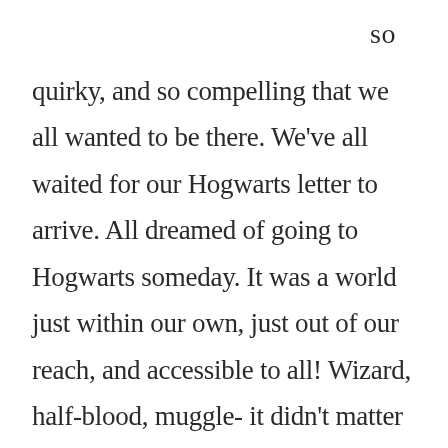so quirky, and so compelling that we all wanted to be there. We've all waited for our Hogwarts letter to arrive. All dreamed of going to Hogwarts someday. It was a world just within our own, just out of our reach, and accessible to all! Wizard, half-blood, muggle- it didn't matter where you came from. Anyone could be welcomed to Hogwarts.